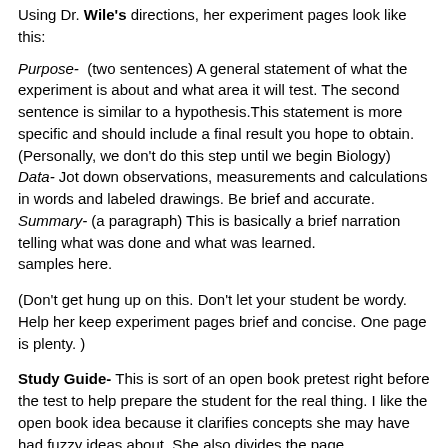Using Dr. Wile's directions, her experiment pages look like this:
Purpose- (two sentences) A general statement of what the experiment is about and what area it will test. The second sentence is similar to a hypothesis.This statement is more specific and should include a final result you hope to obtain. (Personally, we don't do this step until we begin Biology)
Data- Jot down observations, measurements and calculations in words and labeled drawings. Be brief and accurate.
Summary- (a paragraph) This is basically a brief narration telling what was done and what was learned.
samples here.
(Don't get hung up on this. Don't let your student be wordy. Help her keep experiment pages brief and concise. One page is plenty. )
Study Guide- This is sort of an open book pretest right before the test to help prepare the student for the real thing. I like the open book idea because it clarifies concepts she may have had fuzzy ideas about. She also divides the page